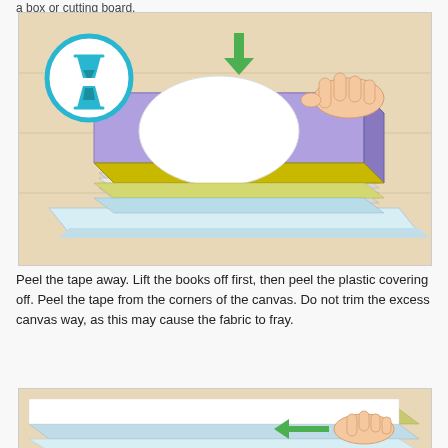a box or cutting board.
[Figure (illustration): WikiHow illustration showing a stack of books placed on top of a canvas on a wooden surface, with a hand pressing down. A green downward arrow indicates pressing. A blue circle with an hourglass icon is in the upper left corner. The book spine shows 'wikiHow' text.]
Peel the tape away. Lift the books off first, then peel the plastic covering off. Peel the tape from the corners of the canvas. Do not trim the excess canvas way, as this may cause the fabric to fray.
[Figure (illustration): WikiHow illustration showing a hand peeling tape from the corner of a canvas on a wooden surface, with a green arrow pointing left.]